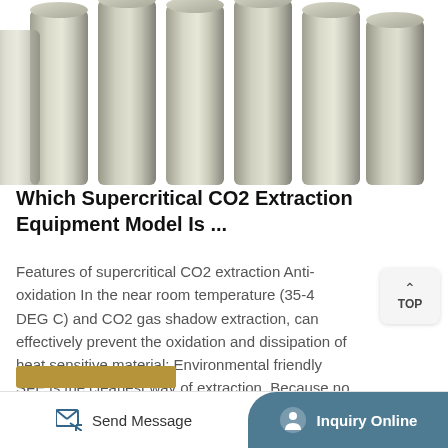[Figure (photo): Metal cylinders/tubes arranged in a row, photographed from below looking upward, silver/gray metallic finish]
Which Supercritical CO2 Extraction Equipment Model Is ...
Features of supercritical CO2 extraction Anti-oxidation In the near room temperature (35-40 DEG C) and CO2 gas shadow extraction, can effectively prevent the oxidation and dissipation of heat sensitive material; Environmental friendly SFE is the cleanest way of extraction. Because no organic solvent is used in the whole process, there is no residual solvent in... Read More ...
Send Message  Inquiry Online